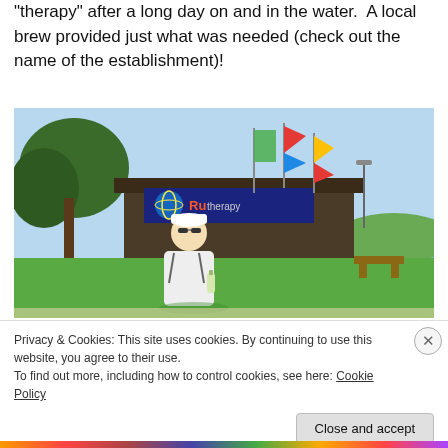“therapy” after a long day on and in the water.  A local brew provided just what was needed (check out the name of the establishment)!
[Figure (photo): A man in a white cap and sunglasses holding a bottle, standing in front of a bar/restaurant with a colorful sign reading 'Ru[therapy]', with flags and waterfront visible in background.]
Privacy & Cookies: This site uses cookies. By continuing to use this website, you agree to their use.
To find out more, including how to control cookies, see here: Cookie Policy
Close and accept